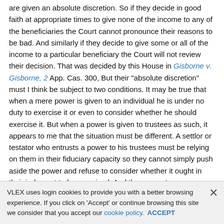are given an absolute discretion. So if they decide in good faith at appropriate times to give none of the income to any of the beneficiaries the Court cannot pronounce their reasons to be bad. And similarly if they decide to give some or all of the income to a particular beneficiary the Court will not review their decision. That was decided by this House in Gisborne v. Gisborne, 2 App. Cas. 300, But their "absolute discretion" must I think be subject to two conditions. It may be true that when a mere power is given to an individual he is under no duty to exercise it or even to consider whether he should exercise it. But when a power is given to trustees as such, it appears to me that the situation must be different. A settlor or testator who entrusts a power to his trustees must be relying on them in their fiduciary capacity so they cannot simply push aside the power and refuse to consider whether it ought in their judgment to be exercised. And they cannot
VLEX uses login cookies to provide you with a better browsing experience. If you click on 'Accept' or continue browsing this site we consider that you accept our cookie policy. ACCEPT